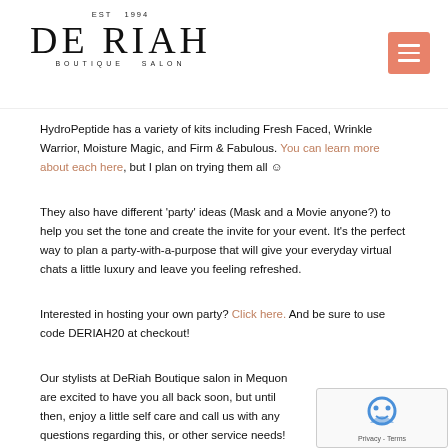EST 1994 DE RIAH BOUTIQUE SALON
HydroPeptide has a variety of kits including Fresh Faced, Wrinkle Warrior, Moisture Magic, and Firm & Fabulous. You can learn more about each here, but I plan on trying them all ☺
They also have different 'party' ideas (Mask and a Movie anyone?) to help you set the tone and create the invite for your event. It's the perfect way to plan a party-with-a-purpose that will give your everyday virtual chats a little luxury and leave you feeling refreshed.
Interested in hosting your own party? Click here. And be sure to use code DERIAH20 at checkout!
Our stylists at DeRiah Boutique salon in Mequon are excited to have you all back soon, but until then, enjoy a little self care and call us with any questions regarding this, or other service needs! 262.241.8899